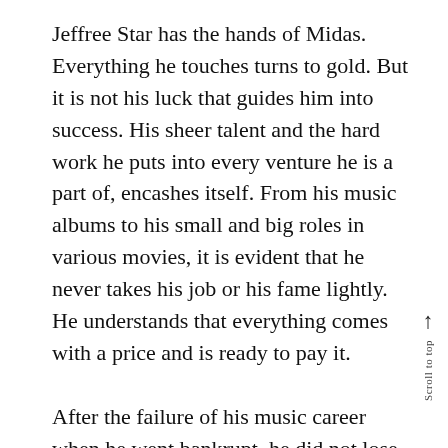Jeffree Star has the hands of Midas. Everything he touches turns to gold. But it is not his luck that guides him into success. His sheer talent and the hard work he puts into every venture he is a part of, encashes itself. From his music albums to his small and big roles in various movies, it is evident that he never takes his job or his fame lightly. He understands that everything comes with a price and is ready to pay it.
After the failure of his music career when he went bankrupt, he did not lose hope and worked hard enough to conquer a net worth of $200